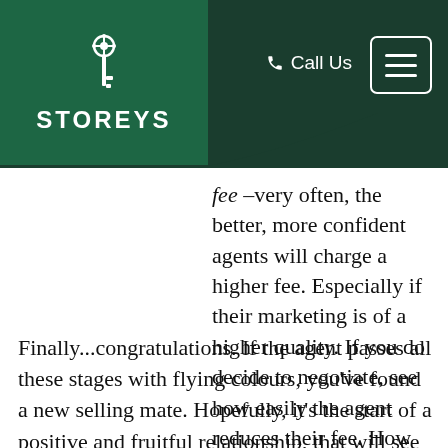STOREYS | Call Us
fee – very often, the better, more confident agents will charge a higher fee. Especially if their marketing is of a higher quality. If you do decide to negotiate, see how easily the agent reduces their fee. How they negotiate with you is how they will negotiate with your buyer, after all.
Finally...congratulations. If the agent passes all these stages with flying colours, you've found a new selling mate. Hopefully, it's the start of a positive and fruitful relationship, that will see you